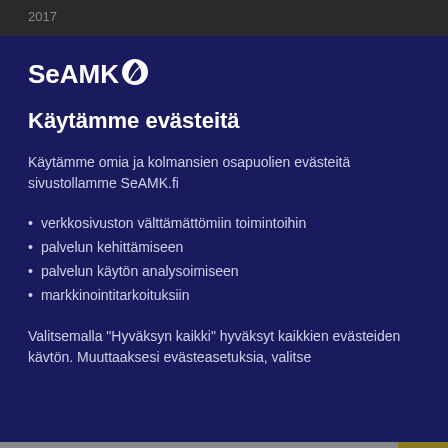2017
[Figure (logo): SeAMK logo with leaf/shield icon in white on dark navy background]
Käytämme evästeitä
Käytämme omia ja kolmansien osapuolien evästeitä sivustollamme SeAMK.fi
verkkosivuston välttämättömiin toimintoihin
palvelun kehittämiseen
palvelun käytön analysoimiseen
markkinointitarkoituksiin
Valitsemalla "Hyväksyn kaikki" hyväksyt kaikkien evästeiden kävtön. Muuttaaksesi evästeasetuksia, valitse